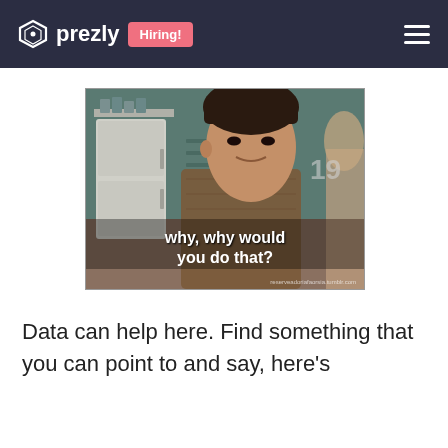prezly   Hiring!
[Figure (photo): A meme-style screenshot from a TV show (Friends) showing a man with the caption 'why, why would you do that?' with watermark 'reserveadoriafaorsia.tumblr.com']
Data can help here. Find something that you can point to and say, here's the data that supports...